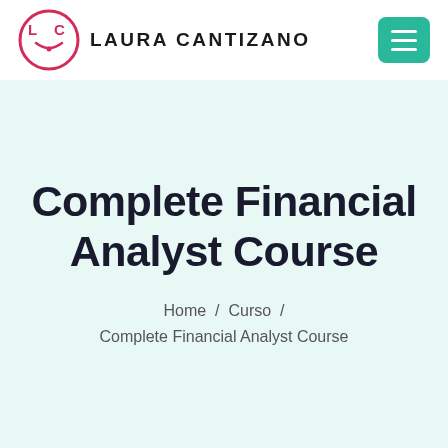[Figure (logo): Laura Cantizano logo: circular LC monogram in pink/red outline with text LAURA CANTIZANO beside it, and a teal hamburger menu button on the right]
Complete Financial Analyst Course
Home / Curso / Complete Financial Analyst Course